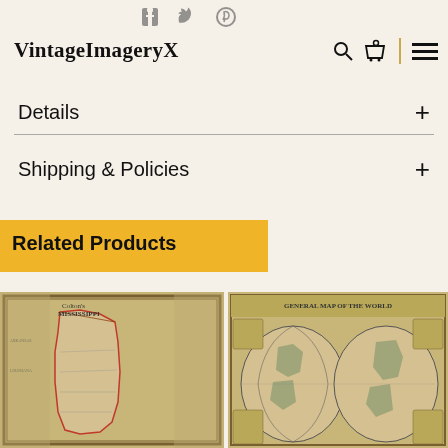VintageImageryX
Details
Shipping & Policies
Related Products
[Figure (photo): Vintage map of Mississippi]
[Figure (photo): Vintage world map with spherical projections]